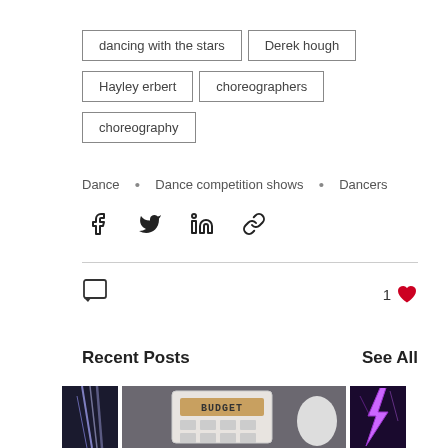dancing with the stars
Derek hough
Hayley erbert
choreographers
choreography
Dance • Dance competition shows • Dancers
[Figure (infographic): Share via Facebook, Twitter, LinkedIn, and link icons]
1 like, comment icon
Recent Posts
See All
[Figure (photo): Three thumbnail images: abstract light streaks on left, calculator showing BUDGET in center, purple lightning on right]